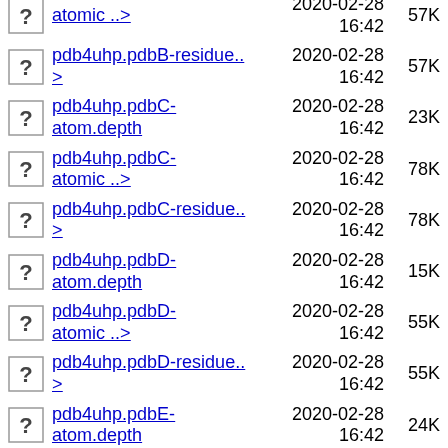atomic ..> 2020-02-28 16:42 57K
pdb4uhp.pdbB-residue..> 2020-02-28 16:42 57K
pdb4uhp.pdbC-atom.depth 2020-02-28 16:42 23K
pdb4uhp.pdbC-atomic ..> 2020-02-28 16:42 78K
pdb4uhp.pdbC-residue..> 2020-02-28 16:42 78K
pdb4uhp.pdbD-atom.depth 2020-02-28 16:42 15K
pdb4uhp.pdbD-atomic ..> 2020-02-28 16:42 55K
pdb4uhp.pdbD-residue..> 2020-02-28 16:42 55K
pdb4uhp.pdbE-atom.depth 2020-02-28 16:42 24K
pdb4uhp.pdbE-atomic ..> 2020-02-28 16:42 81K
pdb4uhp.pdbE-residue..> 2020-02-28 16:42 81K
pdb4uhp.pdbF-atom.depth 2020-02-28 16:42 17K